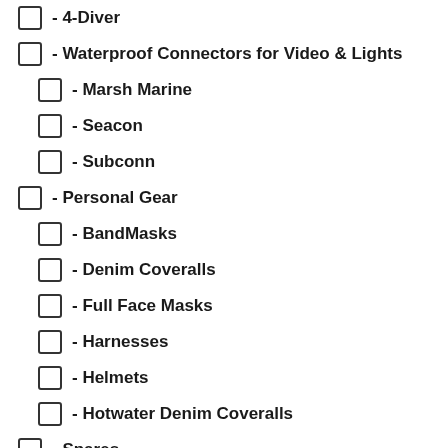- 4-Diver
- Waterproof Connectors for Video & Lights
- Marsh Marine
- Seacon
- Subconn
- Personal Gear
- BandMasks
- Denim Coveralls
- Full Face Masks
- Harnesses
- Helmets
- Hotwater Denim Coveralls
- Spares
- Tools
- Cutting & Welding
- Underwater Burning Equipment